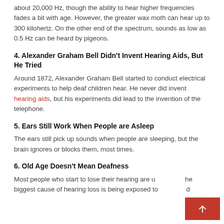about 20,000 Hz, though the ability to hear higher frequencies fades a bit with age. However, the greater wax moth can hear up to 300 kilohertz. On the other end of the spectrum, sounds as low as 0.5 Hz can be heard by pigeons.
4. Alexander Graham Bell Didn't Invent Hearing Aids, But He Tried
Around 1872, Alexander Graham Bell started to conduct electrical experiments to help deaf children hear. He never did invent hearing aids, but his experiments did lead to the invention of the telephone.
5. Ears Still Work When People are Asleep
The ears still pick up sounds when people are sleeping, but the brain ignores or blocks them, most times.
6. Old Age Doesn't Mean Deafness
Most people who start to lose their hearing are u... the biggest cause of hearing loss is being exposed to... d